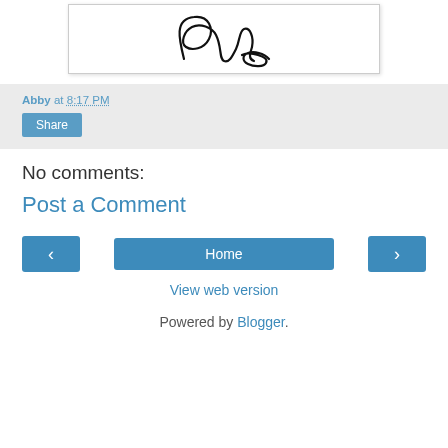[Figure (illustration): Handwritten cursive signature reading 'Abby' in black ink on white background, inside a bordered box with shadow]
Abby at 8:17 PM
Share
No comments:
Post a Comment
‹
Home
›
View web version
Powered by Blogger.